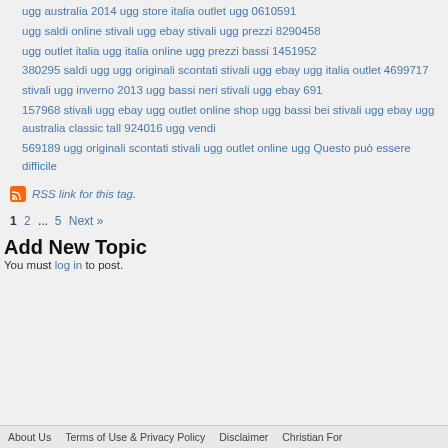ugg australia 2014 ugg store italia outlet ugg 0610591
ugg saldi online stivali ugg ebay stivali ugg prezzi 8290458
ugg outlet italia ugg italia online ugg prezzi bassi 1451952
380295 saldi ugg ugg originali scontati stivali ugg ebay ugg italia outlet 4699717
stivali ugg inverno 2013 ugg bassi neri stivali ugg ebay 691
157968 stivali ugg ebay ugg outlet online shop ugg bassi bei stivali ugg ebay ugg australia classic tall 924016 ugg vendi
569189 ugg originali scontati stivali ugg outlet online ugg Questo può essere difficile
RSS link for this tag.
1  2  ...  5  Next »
Add New Topic
You must log in to post.
About Us   Terms of Use & Privacy Policy   Disclaimer   Christian For